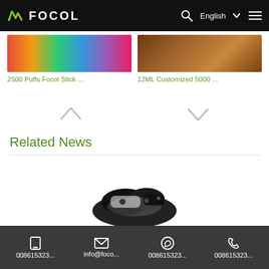[Figure (screenshot): Focol website header with logo, search icon, English language selector, and hamburger menu on black background]
[Figure (photo): Product thumbnail: colorful vape sticks display]
2500 Puffs Focol Stick ...
[Figure (photo): Product thumbnail: brown textured vape product]
12ML Customized 5000 ...
[Figure (other): Navigation up arrow (chevron) and down arrow (chevron)]
Related News
[Figure (photo): Partial image of a black and white vape/electronic device at bottom of page]
008615323... | info@foco... | 008615323... | 008615323...